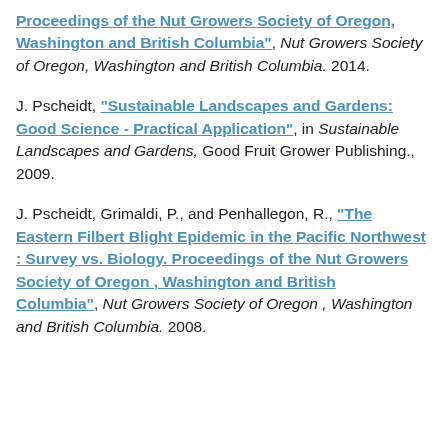Proceedings of the Nut Growers Society of Oregon, Washington and British Columbia", Nut Growers Society of Oregon, Washington and British Columbia. 2014.
J. Pscheidt, "Sustainable Landscapes and Gardens: Good Science - Practical Application", in Sustainable Landscapes and Gardens, Good Fruit Grower Publishing., 2009.
J. Pscheidt, Grimaldi, P., and Penhallegon, R., "The Eastern Filbert Blight Epidemic in the Pacific Northwest : Survey vs. Biology. Proceedings of the Nut Growers Society of Oregon , Washington and British Columbia", Nut Growers Society of Oregon , Washington and British Columbia. 2008.